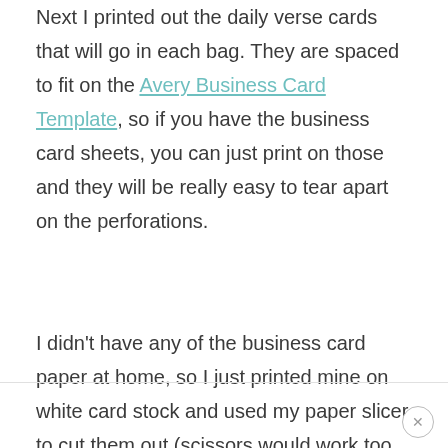Next I printed out the daily verse cards that will go in each bag. They are spaced to fit on the Avery Business Card Template, so if you have the business card sheets, you can just print on those and they will be really easy to tear apart on the perforations.
I didn't have any of the business card paper at home, so I just printed mine on white card stock and used my paper slicer to cut them out (scissors would work too, of course). It took a bit longer but got the same result.